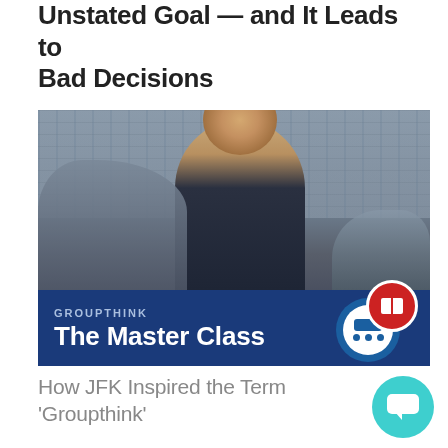Unstated Goal — and It Leads to Bad Decisions
[Figure (photo): Photo of JFK smiling at a stadium event, with a dark blue banner overlay reading 'GROUPTHINK The Master Class' and a logo icon cluster in the bottom right of the banner]
How JFK Inspired the Term 'Groupthink'